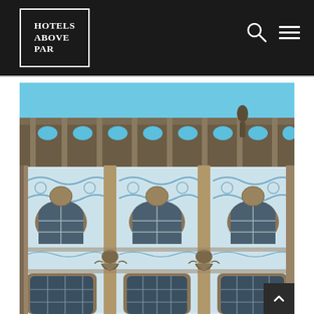Hotels Above Par — site header with logo and navigation icons
[Figure (photo): Photograph of an ornate historic building facade covered in blue and white decorative azulejo tiles, with arched windows and baroque stone ornamentation, photographed against a bright blue sky.]